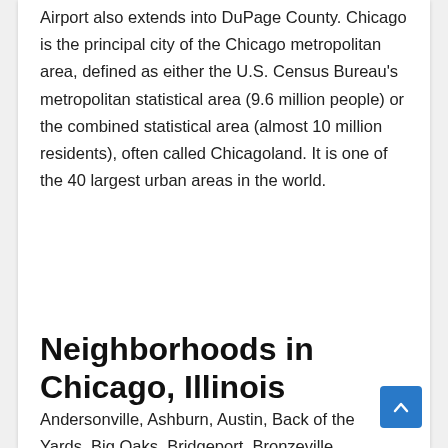Airport also extends into DuPage County. Chicago is the principal city of the Chicago metropolitan area, defined as either the U.S. Census Bureau's metropolitan statistical area (9.6 million people) or the combined statistical area (almost 10 million residents), often called Chicagoland. It is one of the 40 largest urban areas in the world.
Neighborhoods in Chicago, Illinois
Andersonville, Ashburn, Austin, Back of the Yards, Big Oaks, Bridgeport, Bronzeville,